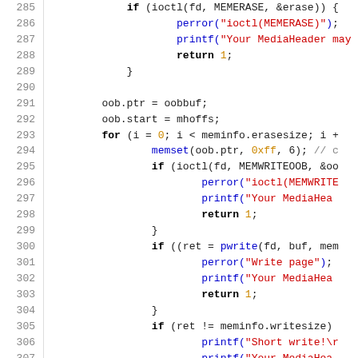[Figure (screenshot): Source code listing (C language) with line numbers 285-314, showing MTD flash memory write operations with ioctl calls, error handling, and OOB buffer management.]